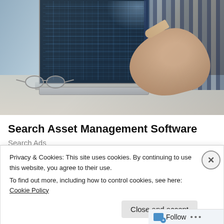[Figure (photo): Person in plaid shirt pointing at a laptop screen showing technical drawings/schematics, with glasses on the desk in the foreground]
Search Asset Management Software
Search Ads
Privacy & Cookies: This site uses cookies. By continuing to use this website, you agree to their use.
To find out more, including how to control cookies, see here: Cookie Policy
Close and accept
Follow